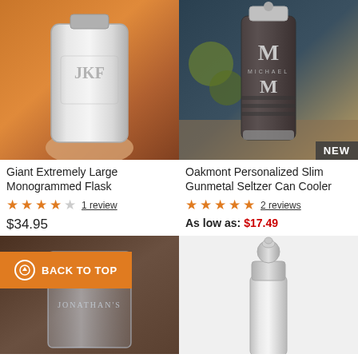[Figure (photo): Hand holding a large silver monogrammed flask with 'JKF' engraving, blurred bar background]
[Figure (photo): Gunmetal slim can cooler with monogram 'M MICHAEL M' engraving, limes and drinks in background, NEW badge]
Giant Extremely Large Monogrammed Flask
★★★★☆  1 review
$34.95
Oakmont Personalized Slim Gunmetal Seltzer Can Cooler
★★★★★  2 reviews
As low as: $17.49
[Figure (photo): Glass tumbler with 'JONATHAN'S' engraving, with BACK TO TOP button overlay]
[Figure (photo): Stainless steel cocktail shaker]